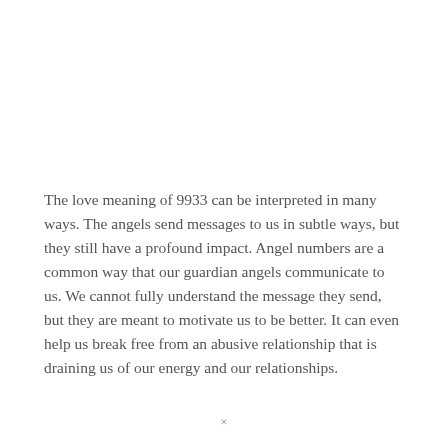The love meaning of 9933 can be interpreted in many ways. The angels send messages to us in subtle ways, but they still have a profound impact. Angel numbers are a common way that our guardian angels communicate to us. We cannot fully understand the message they send, but they are meant to motivate us to be better. It can even help us break free from an abusive relationship that is draining us of our energy and our relationships.
×